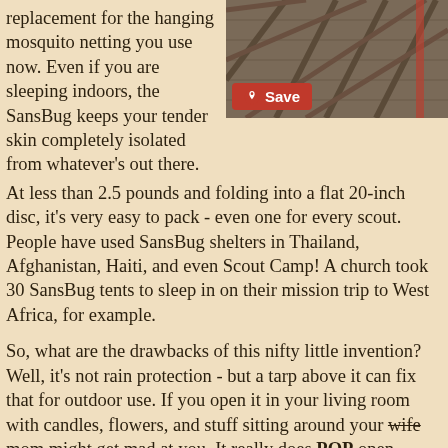replacement for the hanging mosquito netting you use now. Even if you are sleeping indoors, the SansBug keeps your tender skin completely isolated from whatever's out there.
[Figure (photo): Wooden structure with crossed beams, possibly a deck or shelter frame, with a red element visible. A red Save button overlay is shown at the bottom left of the image.]
At less than 2.5 pounds and folding into a flat 20-inch disc, it's very easy to pack - even one for every scout. People have used SansBug shelters in Thailand, Afghanistan, Haiti, and even Scout Camp! A church took 30 SansBug tents to sleep in on their mission trip to West Africa, for example.
So, what are the drawbacks of this nifty little invention? Well, it's not rain protection - but a tarp above it can fix that for outdoor use. If you open it in your living room with candles, flowers, and stuff sitting around your wife mom might get mad at you. It really does POP open.
I'm planning to hike at least half of the Appalachian Trail this summer - anyone want to join me?
I was planning to use my tent and avoid the shelters that have been built about every 10 miles along the trail because they are notorious for mice and other critters. Visiting with all the